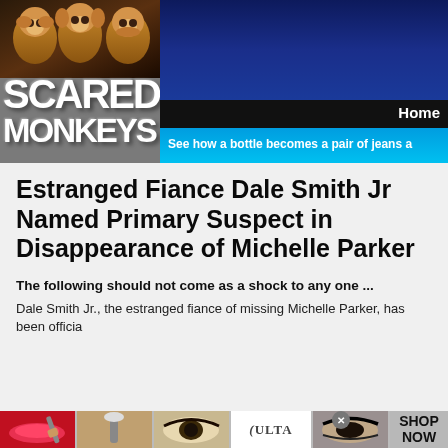Scared Monkeys
Home
See how a bottle becomes a pair of jeans a
Estranged Fiance Dale Smith Jr Named Primary Suspect in Disappearance of Michelle Parker
The following should not come as a shock to any one ...
Dale Smith Jr., the estranged fiance of missing Michelle Parker, has been officia
[Figure (screenshot): Bottom advertisement strip showing beauty/makeup images and Ulta logo with Shop Now text]